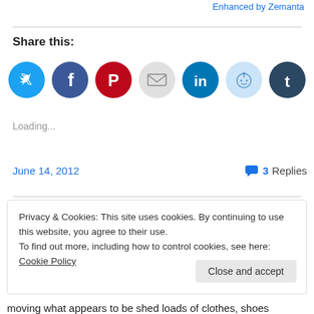[Figure (other): Enhanced by Zemanta link/logo in top right corner]
Share this:
[Figure (other): Social sharing icons: Twitter (blue), Facebook (blue), Pinterest (red), Email (grey), LinkedIn (dark teal), Reddit (light blue), Tumblr (dark navy)]
Loading...
June 14, 2012
3 Replies
Privacy & Cookies: This site uses cookies. By continuing to use this website, you agree to their use.
To find out more, including how to control cookies, see here: Cookie Policy
Close and accept
moving what appears to be shed loads of clothes, shoes